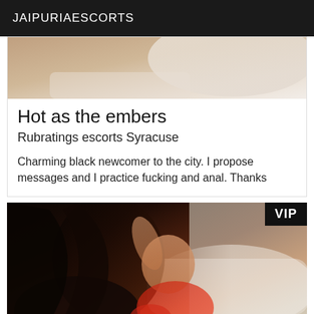JAIPURIAESCORTS
[Figure (photo): Partial view of a bed with light-colored bedding, cropped top portion of a photo]
Hot as the embers
Rubratings escorts Syracuse
Charming black newcomer to the city. I propose messages and I practice fucking and anal. Thanks
[Figure (photo): Woman with long dark hair wearing red lingerie, posed on a bed in a bright room. VIP badge in top right corner.]